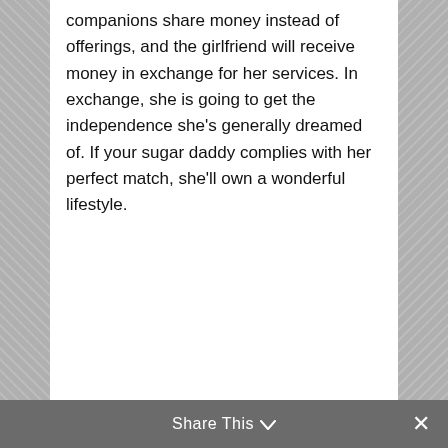companions share money instead of offerings, and the girlfriend will receive money in exchange for her services. In exchange, she is going to get the independence she’s generally dreamed of. If your sugar daddy complies with her perfect match, she’ll own a wonderful lifestyle.
Share This ⌄ ×